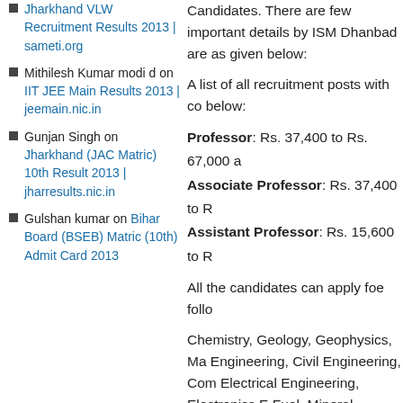Jharkhand VLW Recruitment Results 2013 | sameti.org
Mithilesh Kumar modi d on IIT JEE Main Results 2013 | jeemain.nic.in
Gunjan Singh on Jharkhand (JAC Matric) 10th Result 2013 | jharresults.nic.in
Gulshan kumar on Bihar Board (BSEB) Matric (10th) Admit Card 2013
Candidates. There are few important details by ISM Dhanbad are as given below:
A list of all recruitment posts with corresponding pay scale are given below:
Professor: Rs. 37,400 to Rs. 67,000 a
Associate Professor: Rs. 37,400 to R
Assistant Professor: Rs. 15,600 to R
All the candidates can apply foe follo
Chemistry, Geology, Geophysics, Ma Engineering, Civil Engineering, Com Electrical Engineering, Electronics E Fuel, Mineral Engineering, Humaniti Studies, Mechanical Engineering & M Mining Engineering, Petroleum Engi